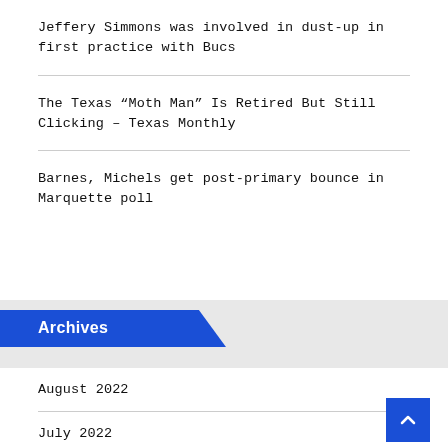Jeffery Simmons was involved in dust-up in first practice with Bucs
The Texas “Moth Man” Is Retired But Still Clicking – Texas Monthly
Barnes, Michels get post-primary bounce in Marquette poll
Archives
August 2022
July 2022